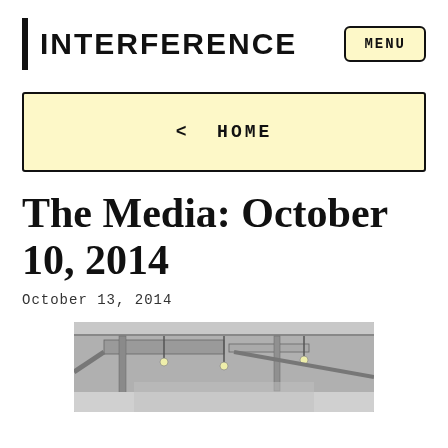INTERFERENCE
MENU
< HOME
The Media: October 10, 2014
October 13, 2014
[Figure (photo): Black and white photograph of an interior ceiling with exposed ductwork, pipes, and pendant lighting fixtures visible from below.]